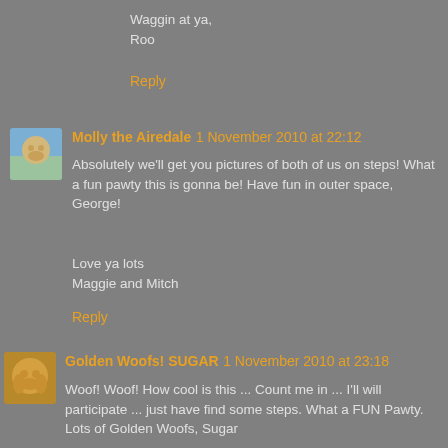Waggin at ya,
Roo
Reply
Molly the Airedale 1 November 2010 at 22:12
Absolutely we'll get you pictures of both of us on steps! What a fun pawty this is gonna be! Have fun in outer space, George!

Love ya lots
Maggie and Mitch
Reply
Golden Woofs! SUGAR 1 November 2010 at 23:18
Woof! Woof! How cool is this ... Count me in ... I'll will participate ... just have find some steps. What a FUN Pawty. Lots of Golden Woofs, Sugar